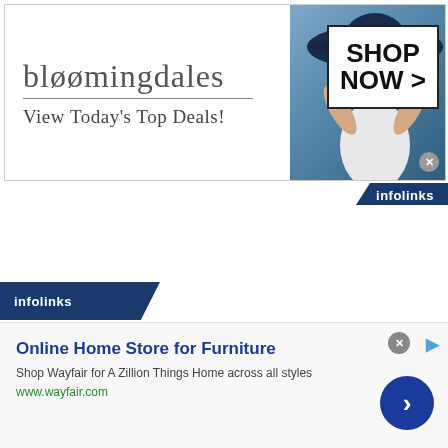[Figure (infographic): Bloomingdales advertisement banner. Shows Bloomingdales logo with tagline 'View Today's Top Deals!' on the left, a woman wearing a large blue hat in the center, and a 'SHOP NOW >' button on the right with a close X icon.]
infolinks
infolinks
[Figure (infographic): Wayfair advertisement. Title: 'Online Home Store for Furniture'. Description: 'Shop Wayfair for A Zillion Things Home across all styles'. URL: www.wayfair.com. Blue circular go button on the right.]